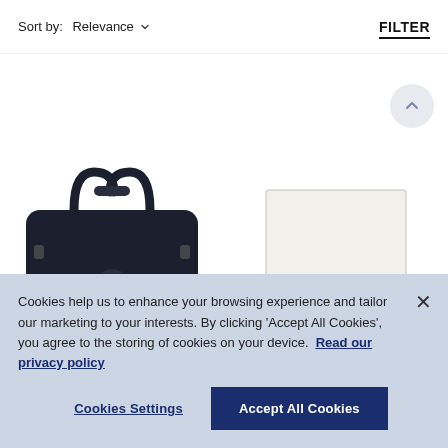Sort by: Relevance
FILTER
[Figure (photo): Dark navy leather briefcase/bag with top handles and a front zip pocket, partially visible]
[Figure (photo): Cream/white rectangular box or notebook with a blue horizontal stripe in the middle]
Cookies help us to enhance your browsing experience and tailor our marketing to your interests. By clicking 'Accept All Cookies', you agree to the storing of cookies on your device. Read our privacy policy
Cookies Settings
Accept All Cookies